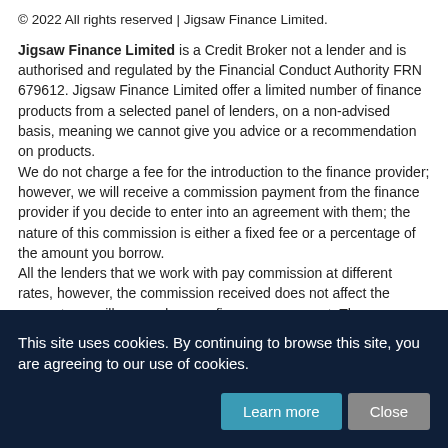© 2022 All rights reserved | Jigsaw Finance Limited.
Jigsaw Finance Limited is a Credit Broker not a lender and is authorised and regulated by the Financial Conduct Authority FRN 679612. Jigsaw Finance Limited offer a limited number of finance products from a selected panel of lenders, on a non-advised basis, meaning we cannot give you advice or a recommendation on products. We do not charge a fee for the introduction to the finance provider; however, we will receive a commission payment from the finance provider if you decide to enter into an agreement with them; the nature of this commission is either a fixed fee or a percentage of the amount you borrow. All the lenders that we work with pay commission at different rates, however, the commission received does not affect the amount you will pay under your finance agreement. The
This site uses cookies. By continuing to browse this site, you are agreeing to our use of cookies.